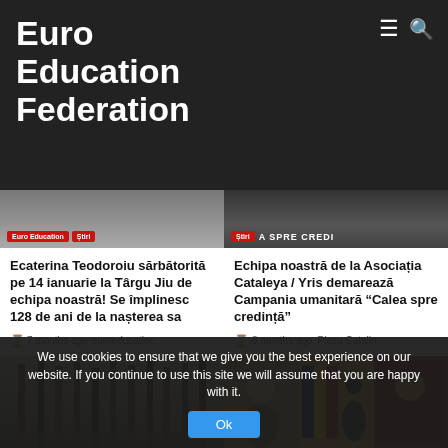Euro Education Federation
[Figure (photo): Article thumbnail with red tags 'Euro Education' and 'Stiri', dark background]
Ecaterina Teodoroiu sărbătorită pe 14 ianuarie la Târgu Jiu de echipa noastră! Se împlinesc 128 de ani de la nașterea sa
7 months ago   euroeducation
[Figure (photo): Article thumbnail with red tag 'Stiri' and text 'A SPRE CREDI...' on dark background]
Echipa noastră de la Asociația Cataleya / Yris demarează Campania umanitară "Calea spre credință"
8 months ago   Plesu Catalin
[Figure (photo): Forest photo with tall trees]
[Figure (photo): Religious icons and Romanian flag, people at outdoor event]
We use cookies to ensure that we give you the best experience on our website. If you continue to use this site we will assume that you are happy with it.